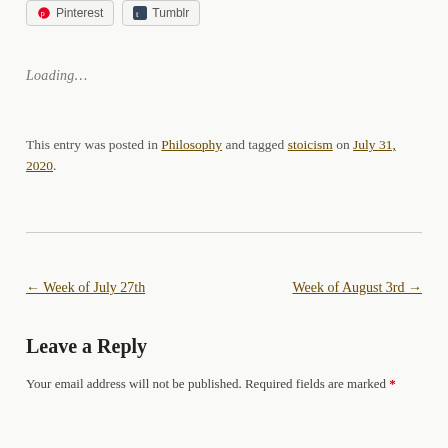Loading...
This entry was posted in Philosophy and tagged stoicism on July 31, 2020.
← Week of July 27th
Week of August 3rd →
Leave a Reply
Your email address will not be published. Required fields are marked *